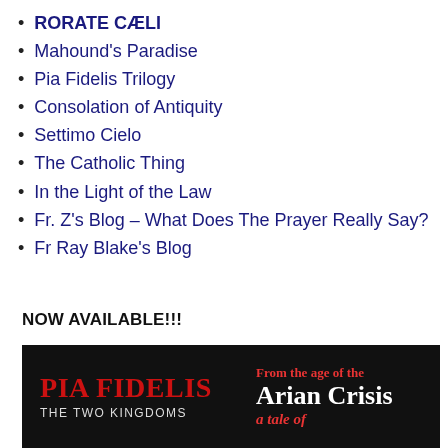RORATE CÆLI
Mahound's Paradise
Pia Fidelis Trilogy
Consolation of Antiquity
Settimo Cielo
The Catholic Thing
In the Light of the Law
Fr. Z's Blog – What Does The Prayer Really Say?
Fr Ray Blake's Blog
NOW AVAILABLE!!!
[Figure (illustration): Book banner for 'Pia Fidelis – The Two Kingdoms' on a dark background, with red and white text on the right reading 'From the age of the Arian Crisis – a tale of']